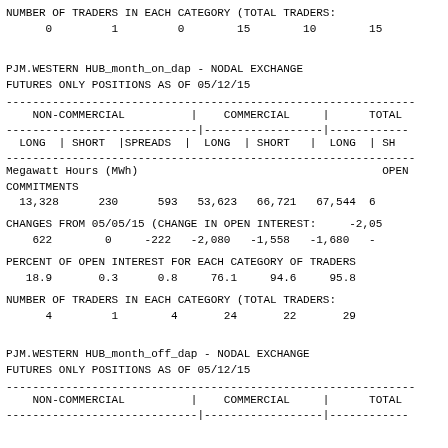NUMBER OF TRADERS IN EACH CATEGORY (TOTAL TRADERS:
          0         1         0        15        10        15
PJM.WESTERN HUB_month_on_dap - NODAL EXCHANGE
FUTURES ONLY POSITIONS AS OF 05/12/15
| NON-COMMERCIAL LONG | NON-COMMERCIAL SHORT | SPREADS | COMMERCIAL LONG | COMMERCIAL SHORT | TOTAL LONG | TOTAL SHORT |
| --- | --- | --- | --- | --- | --- | --- |
| 13,328 | 230 | 593 | 53,623 | 66,721 | 67,544 |  |
| 622 | 0 | -222 | -2,080 | -1,558 | -1,680 |  |
| 18.9 | 0.3 | 0.8 | 76.1 | 94.6 | 95.8 |  |
| 4 | 1 | 4 | 24 | 22 | 29 |  |
PJM.WESTERN HUB_month_off_dap - NODAL EXCHANGE
FUTURES ONLY POSITIONS AS OF 05/12/15
| NON-COMMERCIAL | COMMERCIAL | TOTAL |
| --- | --- | --- |